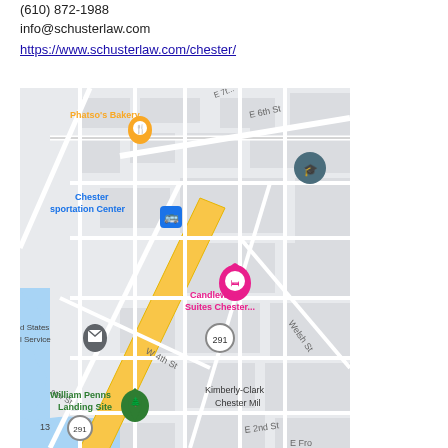(610) 872-1988
info@schusterlaw.com
https://www.schusterlaw.com/chester/
[Figure (map): Google Maps screenshot showing Chester, PA area including Chester Transportation Center, Candlewood Suites Chester, William Penns Landing Site, Kimberly-Clark Chester Mill, Phatso's Bakery, and United States Postal Service. Streets visible include E 6th St, W 4th St, Welsh St, E 2nd St, E Front St. Route 291 is highlighted in yellow.]